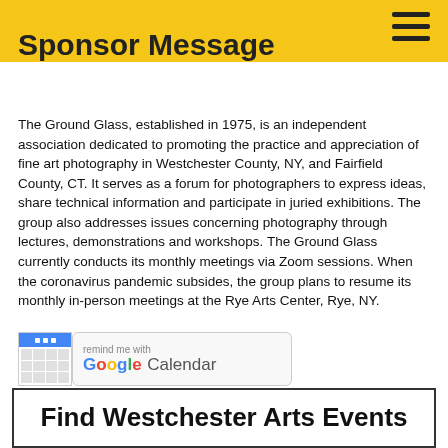Sponsor Message
Sponsor Message
The Ground Glass, established in 1975, is an independent association dedicated to promoting the practice and appreciation of fine art photography in Westchester County, NY, and Fairfield County, CT. It serves as a forum for photographers to express ideas, share technical information and participate in juried exhibitions. The group also addresses issues concerning photography through lectures, demonstrations and workshops. The Ground Glass currently conducts its monthly meetings via Zoom sessions. When the coronavirus pandemic subsides, the group plans to resume its monthly in-person meetings at the Rye Arts Center, Rye, NY.
[Figure (screenshot): Google Calendar 'remind me with' badge button with calendar icon on the left and Google Calendar logo on the right]
Find Westchester Arts Events